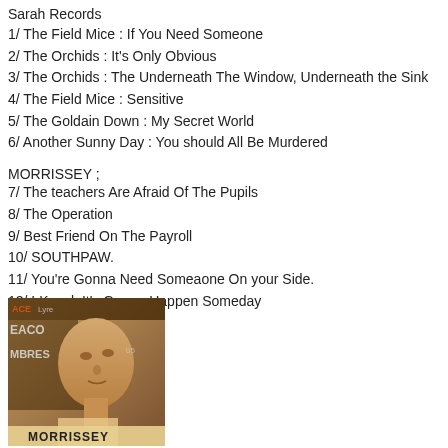Sarah Records
1/ The Field Mice : If You Need Someone
2/ The Orchids : It's Only Obvious
3/ The Orchids : The Underneath The Window, Underneath the Sink
4/ The Field Mice : Sensitive
5/ The Goldain Down : My Secret World
6/ Another Sunny Day : You should All Be Murdered
MORRISSEY ;
7/ The teachers Are Afraid Of The Pupils
8/ The Operation
9/ Best Friend On The Payroll
10/ SOUTHPAW.
11/ You're Gonna Need Someaone On your Side.
12/ I Knock It's Gonna Happen Someday
[Figure (photo): Sepia-toned photo of Morrissey looking upward, magazine cover style, with text overlays including 'MORRISSEY' at the bottom.]